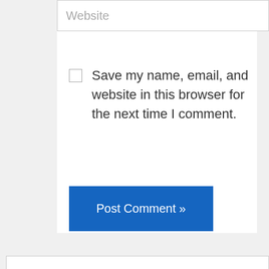Website
Save my name, email, and website in this browser for the next time I comment.
Post Comment »